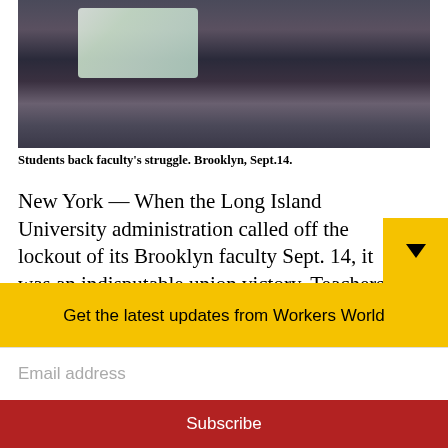[Figure (photo): Crowd of people including students holding signs in support of faculty, Brooklyn, Sept. 14.]
Students back faculty's struggle. Brooklyn, Sept.14.
New York — When the Long Island University administration called off the lockout of its Brooklyn faculty Sept. 14, it was an indisputable union victory. Teachers got their jobs back and students started getting the education they had paid big bucks for.
Get the latest updates from Workers World
Email address
Subscribe